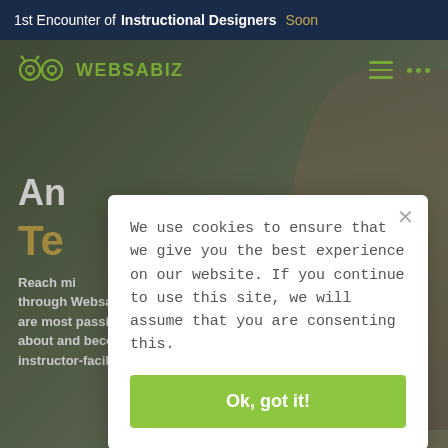1st Encounter of Instructional Designers Soon
[Figure (screenshot): Websabiz website screenshot with navigation bar showing logo and hamburger menu, dark overlay background with a person in background]
An
Te
Reach mi... through Websabiz. Teach what you are most passionate about and become a creative instructor-facilitator!
We use cookies to ensure that we give you the best experience on our website. If you continue to use this site, we will assume that you are consenting this.
Ok, got it!